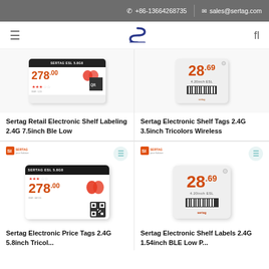📞 +86-13664268735  ✉ sales@sertag.com
[Figure (logo): Sertag company logo - stylized S with horizontal lines in dark blue, navigation bar with menu and search icons]
[Figure (photo): Sertag Retail Electronic Shelf Label product - large ESL tag showing price 278.00 with QR code and apple image]
Sertag Retail Electronic Shelf Labeling 2.4G 7.5inch Ble Low
[Figure (photo): Sertag Electronic Shelf Tag product - small ESL showing price 28.69 with barcode, 4.20inch ESL label]
Sertag Electronic Shelf Tags 2.4G 3.5inch Tricolors Wireless
[Figure (photo): Sertag Electronic Price Tags product image with Sertag logo]
Sertag Electronic Price Tags 2.4G 5.8inch Tricol...
[Figure (photo): Sertag Electronic Shelf Labels product image with Sertag logo]
Sertag Electronic Shelf Labels 2.4G 1.54inch BLE Low P...